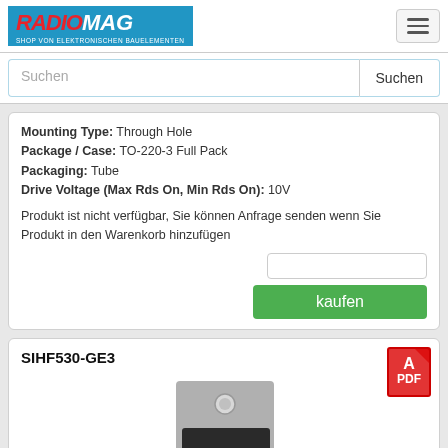RADIOMAG - SHOP VON ELEKTRONISCHEN BAUELEMENTEN
Suchen
Mounting Type: Through Hole
Package / Case: TO-220-3 Full Pack
Packaging: Tube
Drive Voltage (Max Rds On, Min Rds On): 10V
Produkt ist nicht verfügbar, Sie können Anfrage senden wenn Sie Produkt in den Warenkorb hinzufügen
kaufen
SIHF530-GE3
[Figure (photo): TO-220-3 transistor package with metallic tab and three leads]